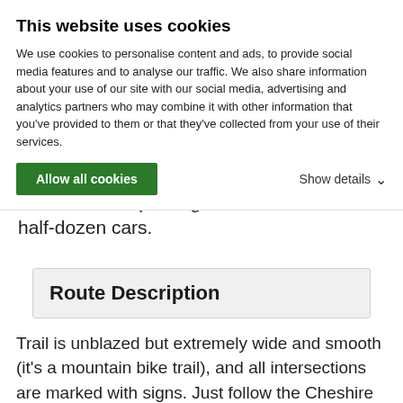This website uses cookies
We use cookies to personalise content and ads, to provide social media features and to analyse our traffic. We also share information about your use of our site with our social media, advertising and analytics partners who may combine it with other information that you've provided to them or that they've collected from your use of their services.
Allow all cookies
Show details
There is a dirt parking area with room for a half-dozen cars.
Route Description
Trail is unblazed but extremely wide and smooth (it's a mountain bike trail), and all intersections are marked with signs. Just follow the Cheshire Harbor Trail uphill (West and then North) to the A.T., then follow the signs to the